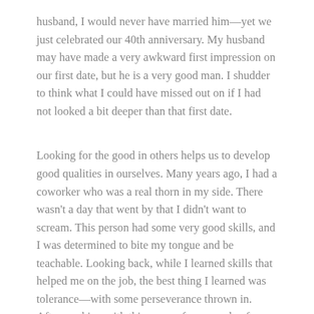husband, I would never have married him—yet we just celebrated our 40th anniversary. My husband may have made a very awkward first impression on our first date, but he is a very good man. I shudder to think what I could have missed out on if I had not looked a bit deeper than that first date.
Looking for the good in others helps us to develop good qualities in ourselves. Many years ago, I had a coworker who was a real thorn in my side. There wasn't a day that went by that I didn't want to scream. This person had some very good skills, and I was determined to bite my tongue and be teachable. Looking back, while I learned skills that helped me on the job, the best thing I learned was tolerance—with some perseverance thrown in. After working with this person for a couple of years, I found I could work with anyone.